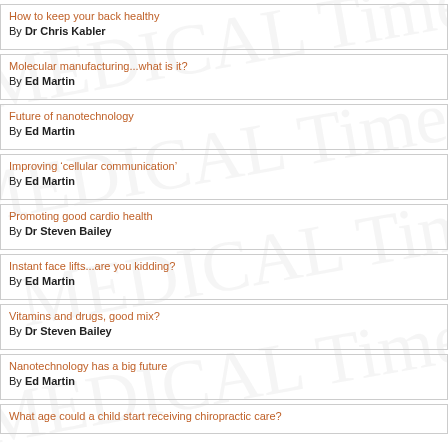How to keep your back healthy
By Dr Chris Kabler
Molecular manufacturing...what is it?
By Ed Martin
Future of nanotechnology
By Ed Martin
Improving ‘cellular communication’
By Ed Martin
Promoting good cardio health
By Dr Steven Bailey
Instant face lifts...are you kidding?
By Ed Martin
Vitamins and drugs, good mix?
By Dr Steven Bailey
Nanotechnology has a big future
By Ed Martin
What age could a child start receiving chiropractic care?